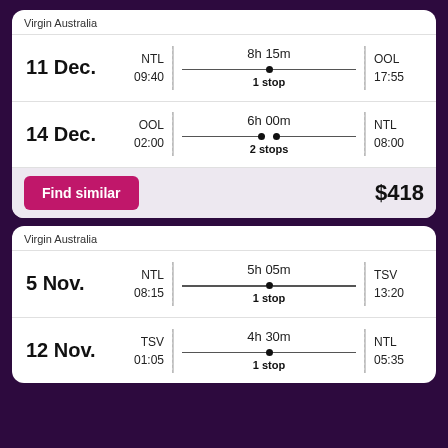Virgin Australia
11 Dec. | NTL 09:40 | 8h 15m 1 stop | OOL 17:55
14 Dec. | OOL 02:00 | 6h 00m 2 stops | NTL 08:00
Find similar | $418
Virgin Australia
5 Nov. | NTL 08:15 | 5h 05m 1 stop | TSV 13:20
12 Nov. | TSV 01:05 | 4h 30m 1 stop | NTL 05:35